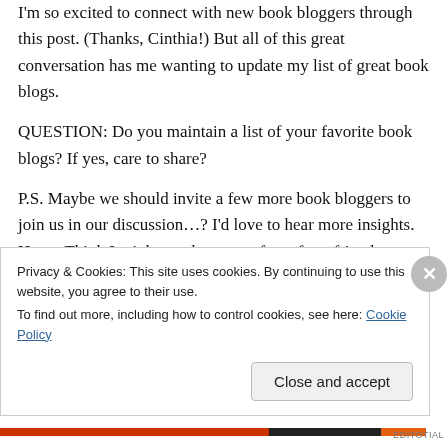I'm so excited to connect with new book bloggers through this post. (Thanks, Cinthia!) But all of this great conversation has me wanting to update my list of great book blogs.
QUESTION: Do you maintain a list of your favorite book blogs? If yes, care to share?
P.S. Maybe we should invite a few more book bloggers to join us in our discussion…? I'd love to hear more insights. Hm… Think I might reach out to a few of my friends tomorrow… The more
Privacy & Cookies: This site uses cookies. By continuing to use this website, you agree to their use.
To find out more, including how to control cookies, see here: Cookie Policy
Close and accept